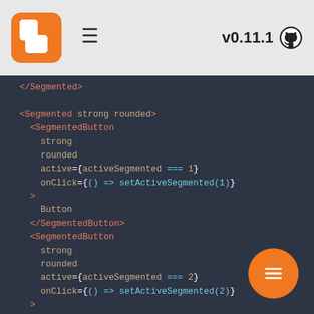v0.11.1
[Figure (screenshot): Code editor screenshot showing JSX code for a Segmented component with SegmentedButton children, on a dark background (#2d3444). Shows attributes strong, rounded, active, onClick for two SegmentedButton components, and a third starting.]